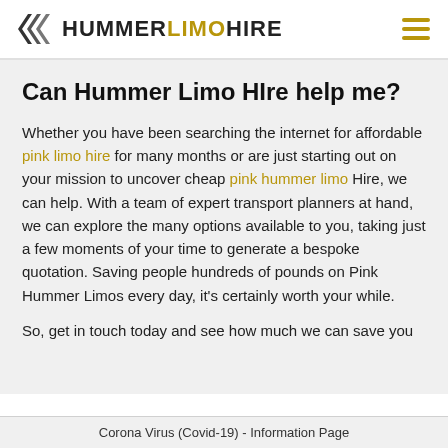HUMMER LIMO HIRE
Can Hummer Limo HIre help me?
Whether you have been searching the internet for affordable pink limo hire for many months or are just starting out on your mission to uncover cheap pink hummer limo Hire, we can help. With a team of expert transport planners at hand, we can explore the many options available to you, taking just a few moments of your time to generate a bespoke quotation. Saving people hundreds of pounds on Pink Hummer Limos every day, it’s certainly worth your while.
So, get in touch today and see how much we can save you
Corona Virus (Covid-19) - Information Page